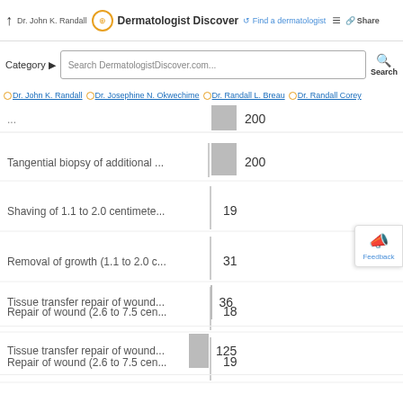Dr. John K. Randall | Dermatologist Discover | Find a dermatologist | Share
Category | Search DermatologistDiscover.com... | Search
Dr. John K. Randall | Dr. Josephine N. Okwechime | Dr. Randall L. Breau | Dr. Randall Corey
[Figure (bar-chart): Procedure counts]